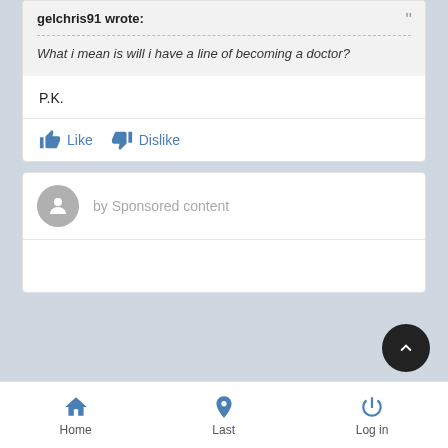gelchris91 wrote:
What i mean is will i have a line of becoming a doctor?
P.K.
Like   Dislike
by Sponsored content
Home   Last   Log in